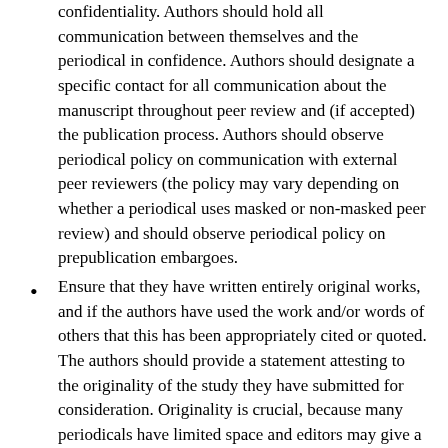confidentiality. Authors should hold all communication between themselves and the periodical in confidence. Authors should designate a specific contact for all communication about the manuscript throughout peer review and (if accepted) the publication process. Authors should observe periodical policy on communication with external peer reviewers (the policy may vary depending on whether a periodical uses masked or non-masked peer review) and should observe periodical policy on prepublication embargoes.
Ensure that they have written entirely original works, and if the authors have used the work and/or words of others that this has been appropriately cited or quoted. The authors should provide a statement attesting to the originality of the study they have submitted for consideration. Originality is crucial, because many periodicals have limited space and editors may give a low priority to studies that, regardless of scientific accuracy and validity, do not advance the scientific enterprise. Some periodicals may ask authors to provide copies of reports on other studies (articles, manuscripts, and abstracts) related